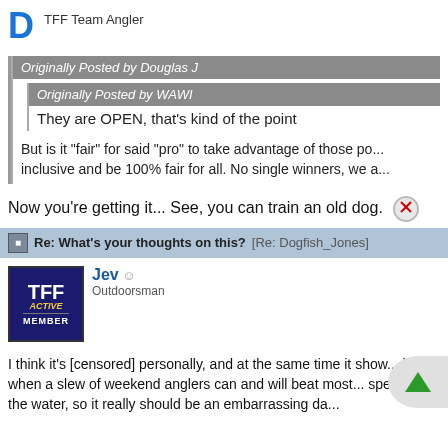D  TFF Team Angler
Originally Posted by Douglas J
Originally Posted by WAWI
They are OPEN, that's kind of the point
But is it "fair" for said "pro" to take advantage of those po... inclusive and be 100% fair for all. No single winners, we a...
Now you're getting it... See, you can train an old dog.
Re: What's your thoughts on this? [Re: Dogfish_Jones]
Jev   Outdoorsman
I think it's [censored] personally, and at the same time it show... hype when a slew of weekend anglers can and will beat most... spend on the water, so it really should be an embarrassing da...